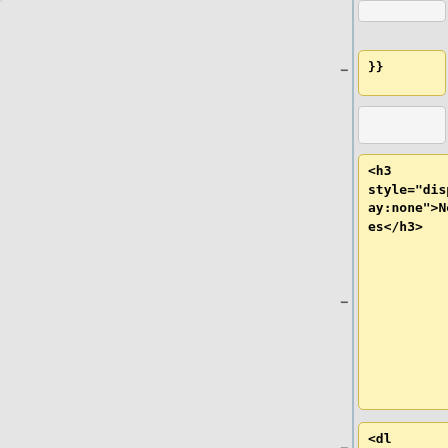[Figure (screenshot): Code diff view showing two columns of code cells. Left column has yellow-highlighted cells (removed lines) and right column has blue-highlighted cells (added lines). Content includes HTML and SQF code snippets in a diff tool interface.]
</sqr>
- }}
<h3 style="display:none">Notes</h3>
|x4=
<sqf>_customFlag setFlagTexture "myMissionFlag.paa";
</sqf>
<dl class="command_description">
<!-- Note Section BEGIN -->